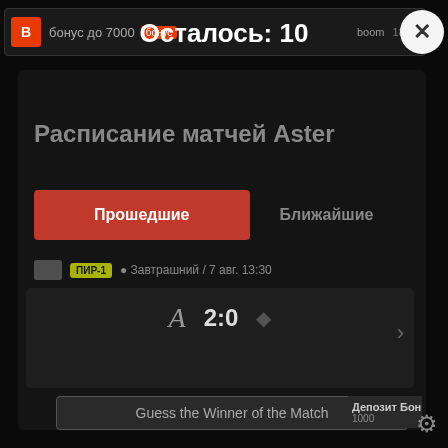бонус до 7000 boom 1891
Осталось: 10
Расписание матчей Aster
Прошедшие
Ближайшие
ПИР-1 • Завтрашний / 7 авг. 13:30
2:0
Guess the Winner of the Match
Депозит бонус 1000
П1 176 • 28 авг 07:00 П2 104